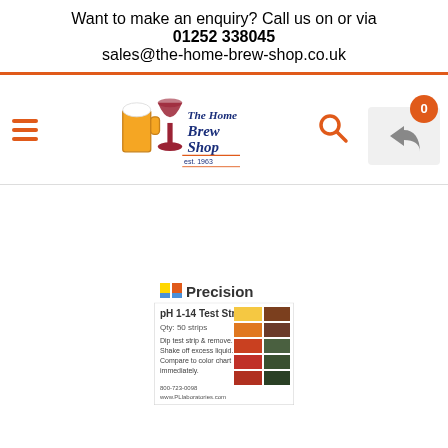Want to make an enquiry? Call us on or via
01252 338045
sales@the-home-brew-shop.co.uk
[Figure (logo): The Home Brew Shop logo with beer mug and wine glass illustration, established 1963]
[Figure (photo): PL Precision pH 1-14 Test Strips product image, qty 50 strips, with color chart]